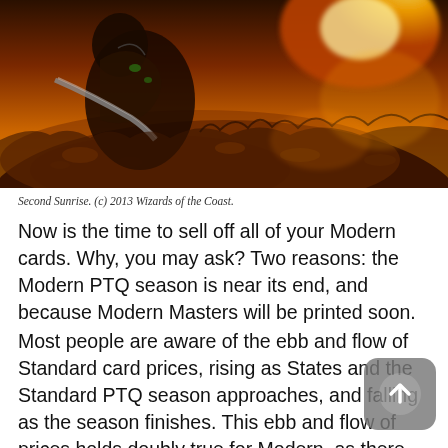[Figure (illustration): Fantasy artwork showing a figure with armor and weapons on a rocky, fire-lit landscape with warm orange/golden tones. Second Sunrise card art from Magic: The Gathering.]
Second Sunrise. (c) 2013 Wizards of the Coast.
Now is the time to sell off all of your Modern cards. Why, you may ask? Two reasons: the Modern PTQ season is near its end, and because Modern Masters will be printed soon.
Most people are aware of the ebb and flow of Standard card prices, rising as States and the Standard PTQ season approaches, and falling as the season finishes. This ebb and flow of prices holds doubly true for Modern, as there are a lot fewer tournaments outside of the PTQs to affect their prices. Virtually every card that has seen play in Modern has gone up in price since the end of summer, many by a significant amount.